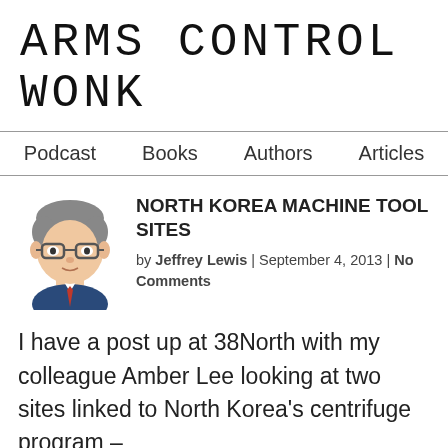ARMS CONTROL WONK
Podcast | Books | Authors | Articles
[Figure (illustration): Cartoon avatar illustration of Jeffrey Lewis, a man with gray hair and glasses wearing a suit]
NORTH KOREA MACHINE TOOL SITES
by Jeffrey Lewis | September 4, 2013 | No Comments
I have a post up at 38North with my colleague Amber Lee looking at two sites linked to North Korea's centrifuge program –